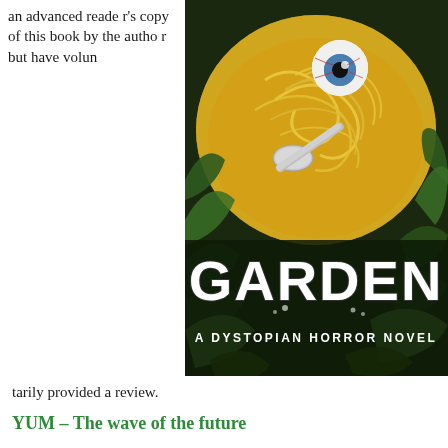an advanced reader's copy of this book by the author but have voluntarily provided a review.
[Figure (photo): Book cover of 'Garden: A Dystopian Horror Novel' showing a bowl of noodle soup with a floating eyeball and a spoon, surrounded by dark green leaves. The title GARDEN is displayed in large white distressed font, with subtitle 'A DYSTOPIAN HORROR NOVEL' below.]
YUM – The wave of the future